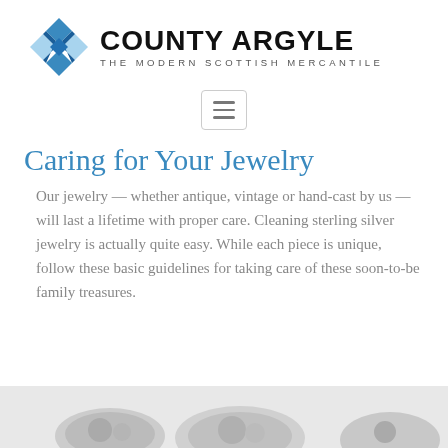[Figure (logo): County Argyle logo: Scottish saltire cross in blue diamond pattern next to bold text 'COUNTY ARGYLE' with subtitle 'THE MODERN SCOTTISH MERCANTILE']
[Figure (other): Hamburger menu button icon with three horizontal lines inside a rounded rectangle border]
Caring for Your Jewelry
Our jewelry — whether antique, vintage or hand-cast by us — will last a lifetime with proper care. Cleaning sterling silver jewelry is actually quite easy. While each piece is unique, follow these basic guidelines for taking care of these soon-to-be family treasures.
[Figure (photo): Partial view of silver jewelry pieces at the bottom of the page]